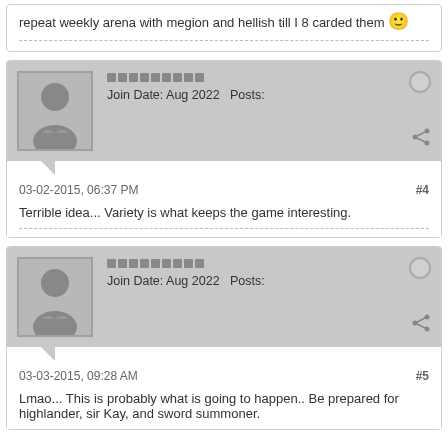repeat weekly arena with megion and hellish till I 8 carded them 🙂
Join Date: Aug 2022   Posts:
03-02-2015, 06:37 PM   #4
Terrible idea... Variety is what keeps the game interesting.
Join Date: Aug 2022   Posts:
03-03-2015, 09:28 AM   #5
Lmao... This is probably what is going to happen.. Be prepared for highlander, sir Kay, and sword summoner.